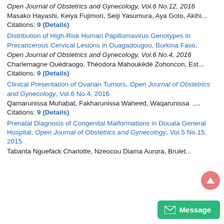Open Journal of Obstetrics and Gynecology, Vol.6 No.12, 2016
Masako Hayashi, Keiya Fujimori, Seiji Yasumura, Aya Goto, Akihi...
Citations: 9 (Details)
Distribution of High-Risk Human Papillomavirus Genotypes in Precancerous Cervical Lesions in Ouagadougou, Burkina Faso,
Open Journal of Obstetrics and Gynecology, Vol.6 No.4, 2016
Charlemagne Ouédraogo, Théodora Mahoukèdè Zohoncon, Est...
Citations: 9 (Details)
Clinical Presentation of Ovarian Tumors, Open Journal of Obstetrics and Gynecology, Vol.6 No.4, 2016
Qamarunissa Muhabat, Fakharunissa Waheed, Waqarunissa  ,...
Citations: 9 (Details)
Prenatal Diagnosis of Congenital Malformations in Douala General Hospital, Open Journal of Obstetrics and Gynecology, Vol.5 No.15, 2015
Tabanta Nguefack Charlotte, Nzeocou Diama Aurora, Brulet...